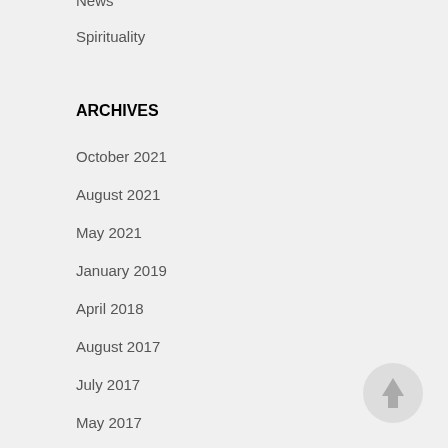News
Spirituality
ARCHIVES
October 2021
August 2021
May 2021
January 2019
April 2018
August 2017
July 2017
May 2017
[Figure (illustration): Back-to-top scroll button: circular grey button with upward arrow]